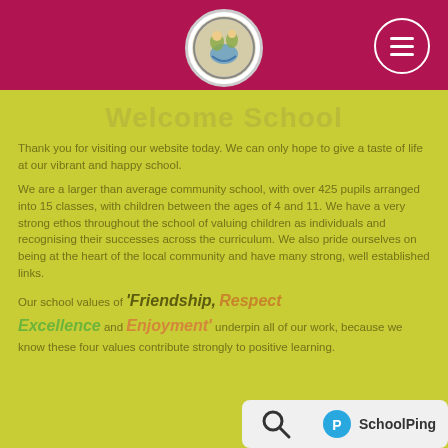[Figure (logo): School logo circular badge centered in dark red/maroon header bar with hamburger menu button on right]
Welcome School
Thank you for visiting our website today. We can only hope to give a taste of life at our vibrant and happy school.
We are a larger than average community school, with over 425 pupils arranged into 15 classes, with children between the ages of 4 and 11. We have a very strong ethos throughout the school of valuing children as individuals and recognising their successes across the curriculum. We also pride ourselves on being at the heart of the local community and have many strong, well established links.
Our school values of ‘Friendship, Respect Excellence and Enjoyment’ underpin all of our work, because we know these four values contribute strongly to positive learning.
[Figure (logo): SchoolPing logo and search icon in bottom right overlay bar]